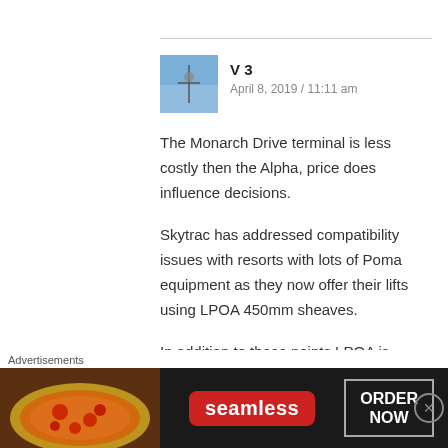V 3
April 8, 2019 / 11:11 am
The Monarch Drive terminal is less costly then the Alpha, price does influence decisions.
Skytrac has addressed compatibility issues with resorts with lots of Poma equipment as they now offer their lifts using LPOA 450mm sheaves.
In addition to these points LPOA is
Advertisements